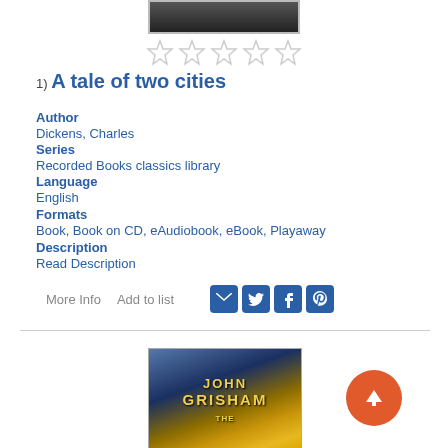[Figure (photo): Top portion of a book cover image cropped at top of page]
[Figure (other): Five empty star rating icons in a row]
1) A tale of two cities
Author
Dickens, Charles
Series
Recorded Books classics library
Language
English
Formats
Book, Book on CD, eAudiobook, eBook, Playaway
Description
Read Description
More Info   Add to list
[Figure (photo): Book cover of a John Grisham novel showing scales of justice on a blue/gold background]
[Figure (other): Orange circular button with upward arrow icon]